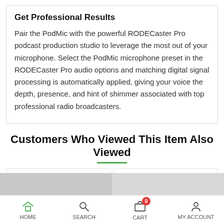Get Professional Results
Pair the PodMic with the powerful RODECaster Pro podcast production studio to leverage the most out of your microphone. Select the PodMic microphone preset in the RODECaster Pro audio options and matching digital signal processing is automatically applied, giving your voice the depth, presence, and hint of shimmer associated with top professional radio broadcasters.
Customers Who Viewed This Item Also Viewed
USED LENSES
MACBOOK
HOME  SEARCH  CART  MY ACCOUNT